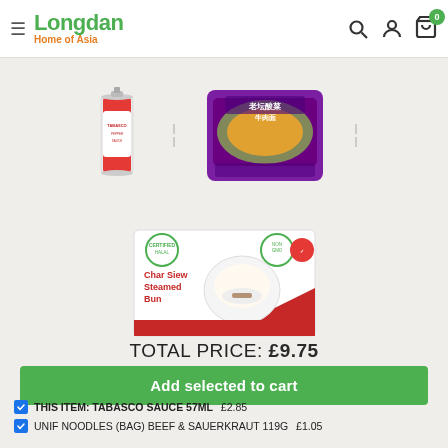[Figure (logo): Longdan Home of Asia logo with hamburger menu, search, account, and cart icons showing 0 items]
[Figure (photo): Tabasco Sauce bottle (red can), Unif Noodles bag (purple, beef & sauerkraut), and partially visible product placeholders]
[Figure (photo): Char Siew Steamed Bun product box with red and white packaging]
TOTAL PRICE: £9.75
Add selected to cart
THIS ITEM: TABASCO SAUCE 57ML £2.85
UNIF NOODLES (BAG) BEEF & SAUERKRAUT 119G £1.05